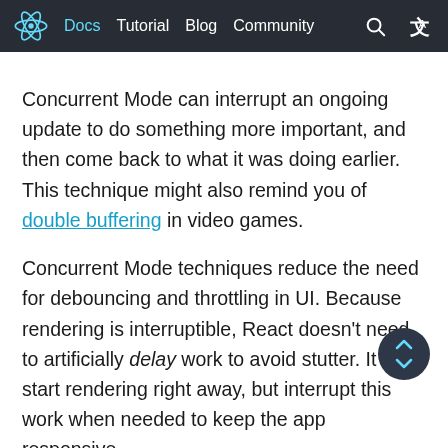Docs  Tutorial  Blog  Community
Concurrent Mode can interrupt an ongoing update to do something more important, and then come back to what it was doing earlier. This technique might also remind you of double buffering in video games.
Concurrent Mode techniques reduce the need for debouncing and throttling in UI. Because rendering is interruptible, React doesn’t need to artificially delay work to avoid stutter. It can start rendering right away, but interrupt this work when needed to keep the app responsive.
Intentional Loading Sequences
We’ve said before that Concurrent Mode is like React